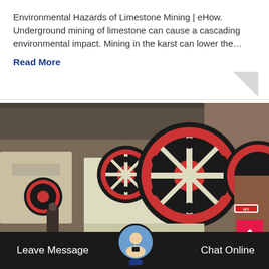Environmental Hazards of Limestone Mining | eHow. Underground mining of limestone can cause a cascading environmental impact. Mining in the karst can lower the…
Read More
[Figure (photo): Industrial jaw crusher machines with large black and red flywheel pulleys in a factory/warehouse setting]
Leave Message
Chat Online